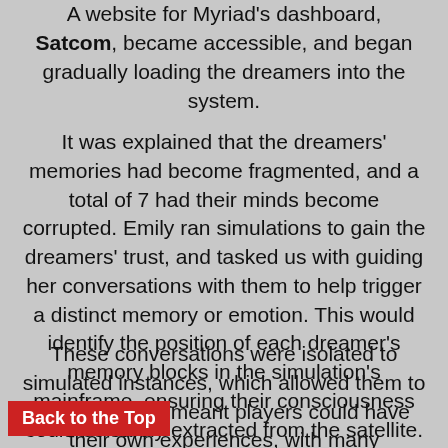A website for Myriad's dashboard, Satcom, became accessible, and began gradually loading the dreamers into the system.
It was explained that the dreamers' memories had become fragmented, and a total of 7 had their minds become corrupted. Emily ran simulations to gain the dreamers' trust, and tasked us with guiding her conversations with them to help trigger a distinct memory or emotion. This would identify the position of each dreamer's memory blocks in the simulation's mainframe, ensuring their consciousness could be safely extracted from the satellite.
These conversations were isolated to simulated instances, which allowed them to be reset. This meant players could have their own experiences, with many branching paths that explored each dreamer's psyche. These conversations were used to find keywords inputted to rebuild the dreamers' memory blocks, and in finding more creative ways to evoke their memories. Each experience can be
Back to the Top